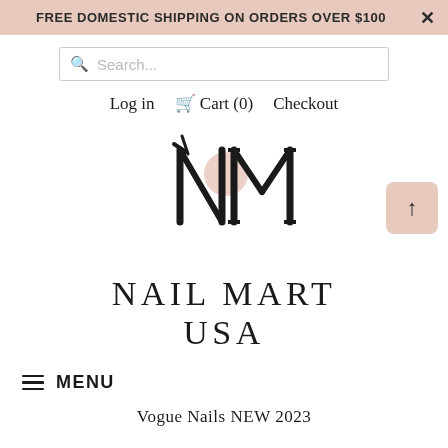FREE DOMESTIC SHIPPING ON ORDERS OVER $100
Search...
Log in  🛒 Cart (0)  Checkout
[Figure (logo): Nail Mart USA logo — stylized NM monogram with a nail brush forming the N and a large serif M, with a pink circle accent. Below reads NAIL MART USA in spaced serif capitals.]
≡ MENU
Vogue Nails NEW 2023